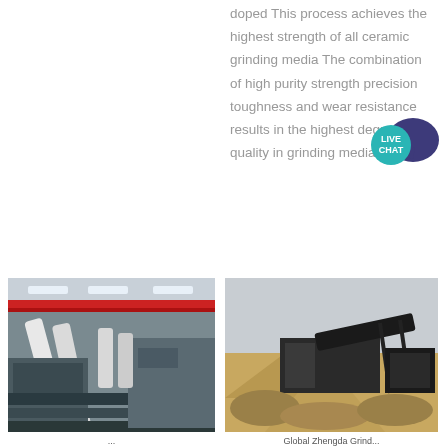doped This process achieves the highest strength of all ceramic grinding media The combination of high purity strength precision toughness and wear resistance results in the highest degree of quality in grinding media ...
[Figure (photo): Industrial grinding machinery inside a factory warehouse with red overhead crane, white pipes and conveyor equipment]
[Figure (photo): Outdoor desert scene with mobile rock crushing and screening equipment with piles of aggregate material]
...
Global Zhengda Grind...